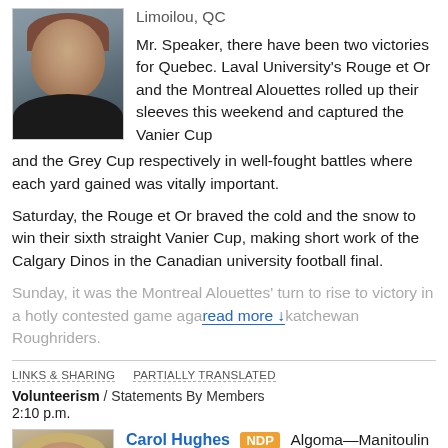Limoilou, QC
Mr. Speaker, there have been two victories for Quebec. Laval University's Rouge et Or and the Montreal Alouettes rolled up their sleeves this weekend and captured the Vanier Cup and the Grey Cup respectively in well-fought battles where each yard gained was vitally important.
Saturday, the Rouge et Or braved the cold and the snow to win their sixth straight Vanier Cup, making short work of the Calgary Dinos in the Canadian university football final.
Sunday, it was the Montreal Alouettes' turn to rise to victory in a hotly contested game against Saskatchewan Roughriders.
LINKS & SHARING   PARTIALLY TRANSLATED
Volunteerism / Statements By Members
2:10 p.m.
[Figure (photo): Portrait photo of a woman with glasses and short dark hair wearing a dark jacket]
Carol Hughes NDP Algoma—Manitoulin—Kapuskasing, ON
[Figure (photo): Portrait photo of a woman with light hair]